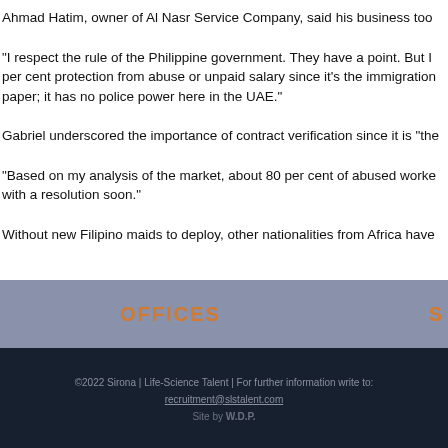Ahmad Hatim, owner of Al Nasr Service Company, said his business too
“I respect the rule of the Philippine government. They have a point. But I per cent protection from abuse or unpaid salary since it’s the immigration paper; it has no police power here in the UAE.”
Gabriel underscored the importance of contract verification since it is “the
“Based on my analysis of the market, about 80 per cent of abused worke with a resolution soon.”
Without new Filipino maids to deploy, other nationalities from Africa have
OFFICES
©2022 Sirona | Life-Science Talent | For further information write to: recruitment@slstalent.com
Site by W.D.P.